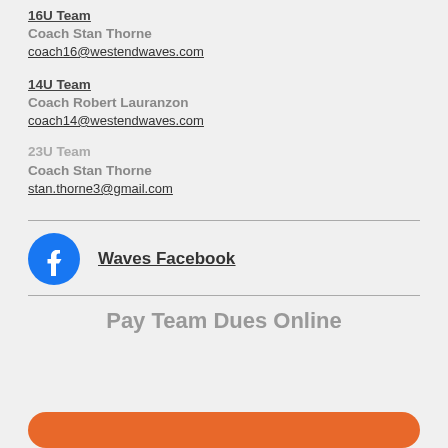16U Team
Coach Stan Thorne
coach16@westendwaves.com
14U Team
Coach Robert Lauranzon
coach14@westendwaves.com
23U Team
Coach Stan Thorne
stan.thorne3@gmail.com
[Figure (logo): Facebook logo circle icon in blue with white F]
Waves Facebook
Pay Team Dues Online